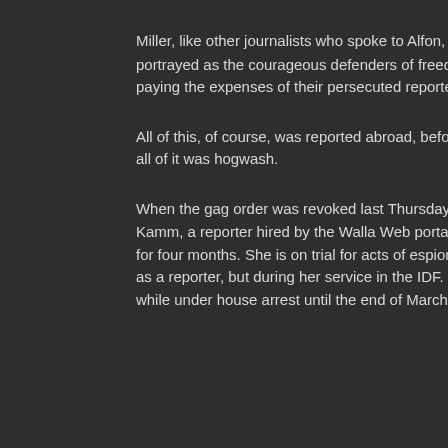Miller, like other journalists who spoke to Alfon, compared Israel to the likes of Cuba and Iran. Alfon and Haaretz were portrayed as the courageous defenders of freedom of speech and the true watchdogs of Israeli democracy, selflessly paying the expenses of their persecuted reporter hiding away in London.
All of this, of course, was reported abroad, before the actual story was published. And, like the deportation order story, all of it was hogwash.
When the gag order was revoked last Thursday, Israelis – and any foreigners who were interested – learned that Anat Kamm, a reporter hired by the Walla Web portal when it was partly owned by Haaretz, had been under house arrest for four months. She is on trial for acts of espionage with the intent of harming national security that she committed not as a reporter, but during her service in the IDF. Not only did she not disappear, she continued reporting for Walla, while under house arrest until the end of March.